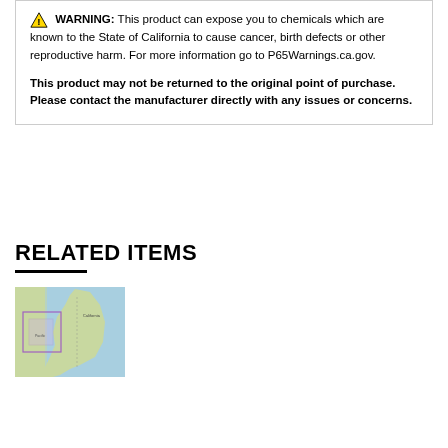⚠️ WARNING: This product can expose you to chemicals which are known to the State of California to cause cancer, birth defects or other reproductive harm. For more information go to P65Warnings.ca.gov.

This product may not be returned to the original point of purchase. Please contact the manufacturer directly with any issues or concerns.
RELATED ITEMS
[Figure (map): A map thumbnail showing the Pacific coast of California with a highlighted navigational chart area marked in purple/pink outlines over a blue ocean background.]